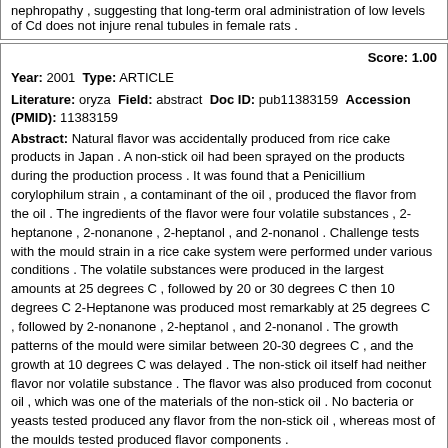nephropathy , suggesting that long-term oral administration of low levels of Cd does not injure renal tubules in female rats .
Score: 1.00
Year: 2001 Type: ARTICLE
Literature: oryza Field: abstract Doc ID: pub11383159 Accession (PMID): 11383159
Abstract: Natural flavor was accidentally produced from rice cake products in Japan . A non-stick oil had been sprayed on the products during the production process . It was found that a Penicillium corylophilum strain , a contaminant of the oil , produced the flavor from the oil . The ingredients of the flavor were four volatile substances , 2-heptanone , 2-nonanone , 2-heptanol , and 2-nonanol . Challenge tests with the mould strain in a rice cake system were performed under various conditions . The volatile substances were produced in the largest amounts at 25 degrees C , followed by 20 or 30 degrees C then 10 degrees C 2-Heptanone was produced most remarkably at 25 degrees C , followed by 2-nonanone , 2-heptanol , and 2-nonanol . The growth patterns of the mould were similar between 20-30 degrees C , and the growth at 10 degrees C was delayed . The non-stick oil itself had neither flavor nor volatile substance . The flavor was also produced from coconut oil , which was one of the materials of the non-stick oil . No bacteria or yeasts tested produced any flavor from the non-stick oil , whereas most of the moulds tested produced flavor components .
Score: 1.00
Year: 2001 Type: ARTICLE
Literature: oryza Field: abstract Doc ID: pub11392748 Accession (PMID): 11392748